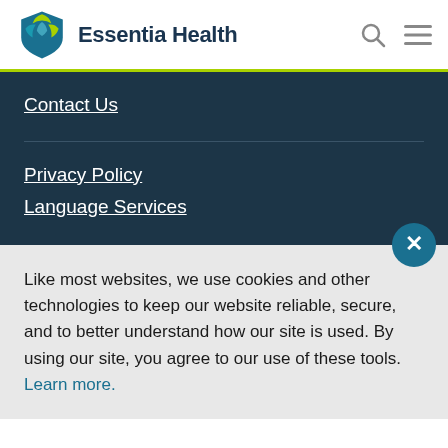Essentia Health
Contact Us
Privacy Policy
Language Services
Like most websites, we use cookies and other technologies to keep our website reliable, secure, and to better understand how our site is used. By using our site, you agree to our use of these tools. Learn more.